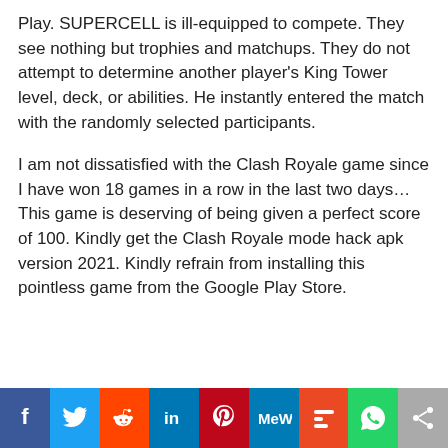Play. SUPERCELL is ill-equipped to compete. They see nothing but trophies and matchups. They do not attempt to determine another player's King Tower level, deck, or abilities. He instantly entered the match with the randomly selected participants.
I am not dissatisfied with the Clash Royale game since I have won 18 games in a row in the last two days… This game is deserving of being given a perfect score of 100. Kindly get the Clash Royale mode hack apk version 2021. Kindly refrain from installing this pointless game from the Google Play Store.
[Figure (infographic): Social media sharing bar with icons: Facebook, Twitter, Reddit, LinkedIn, Pinterest, MeWe, Mix, WhatsApp, Share]